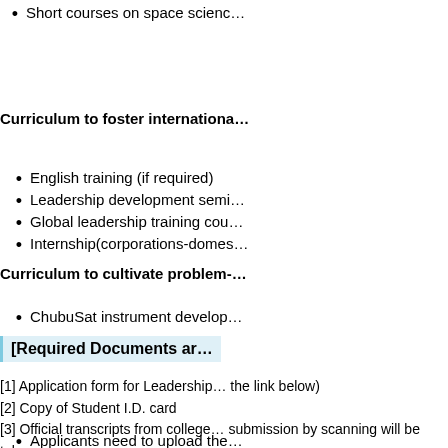Short courses on space scienc…
Curriculum to foster internationa…
English training (if required)
Leadership development semi…
Global leadership training cou…
Internship(corporations-domes…
Curriculum to cultivate problem-…
ChubuSat instrument develop…
[Required Documents ar…
[1] Application form for Leadership… the link below)
[2] Copy of Student I.D. card
[3] Official transcripts from college… submission by scanning will be tak…
[4] Reference of Appointed Superv…
Applicants need to upload the…